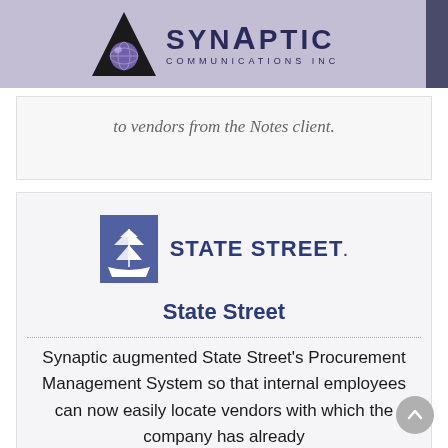Synaptic Communications Inc
to vendors from the Notes client.
[Figure (logo): State Street logo with sailing ship icon and STATE STREET. text]
State Street
Synaptic augmented State Street's Procurement Management System so that internal employees can now easily locate vendors with which the company has already